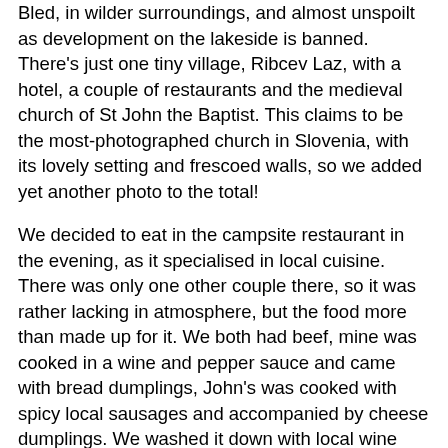Bled, in wilder surroundings, and almost unspoilt as development on the lakeside is banned.  There's just one tiny village, Ribcev Laz, with a hotel, a couple of restaurants and the medieval church of St John the Baptist.  This claims to be the most-photographed church in Slovenia, with its lovely setting and frescoed walls, so we added yet another photo to the total!
We decided to eat in the campsite restaurant in the evening, as it specialised in local cuisine.  There was only one other couple there, so it was rather lacking in atmosphere, but the food more than made up for it.  We both had beef, mine was cooked in a wine and pepper sauce and came with bread dumplings, John's was cooked with spicy local sausages and accompanied by cheese dumplings.  We washed it down with local wine and enjoyed chatting to the friendly waiter.
Unfortunately that was the end of the good weather.  It rained all night and all the next day.  We had planned to visit the capital, Ljubljana, but given the heavy rain there seemed no point.  The campsite became progressively wetter and muddier until our caravan was almost entirely surrounded by water. You know with a story...